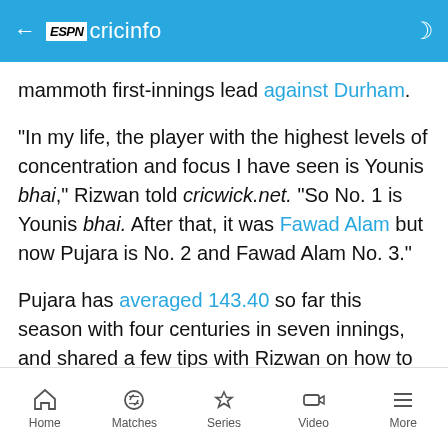ESPN cricinfo
mammoth first-innings lead against Durham.
"In my life, the player with the highest levels of concentration and focus I have seen is Younis bhai," Rizwan told cricwick.net. "So No. 1 is Younis bhai. After that, it was Fawad Alam but now Pujara is No. 2 and Fawad Alam No. 3."
Pujara has averaged 143.40 so far this season with four centuries in seven innings, and shared a few tips with Rizwan on how to bat in English conditions.
"I try to find out what makes these three guys so good in terms of their focus and concentration," Rizwan
Home  Matches  Series  Video  More